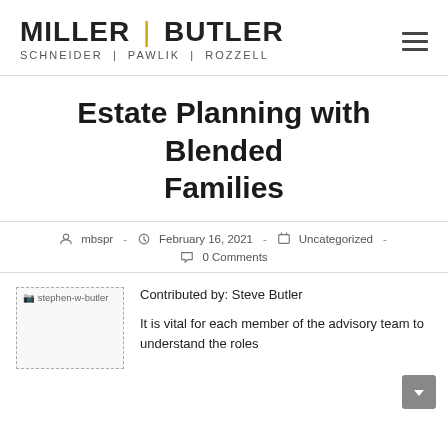[Figure (logo): Miller Butler Schneider Pawlik Rozzell law firm logo with gold divider bar]
Estate Planning with Blended Families
mbspr · February 16, 2021 · Uncategorized · 0 Comments
[Figure (photo): stephen-w-butler headshot image (broken/placeholder)]
Contributed by: Steve Butler
It is vital for each member of the advisory team to understand the roles